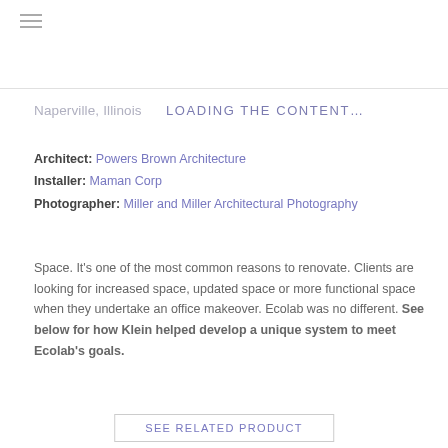☰ (hamburger menu icon)
Naperville, Illinois
LOADING THE CONTENT…
Architect: Powers Brown Architecture
Installer: Maman Corp
Photographer: Miller and Miller Architectural Photography
Space. It's one of the most common reasons to renovate. Clients are looking for increased space, updated space or more functional space when they undertake an office makeover. Ecolab was no different. See below for how Klein helped develop a unique system to meet Ecolab's goals.
SEE RELATED PRODUCT